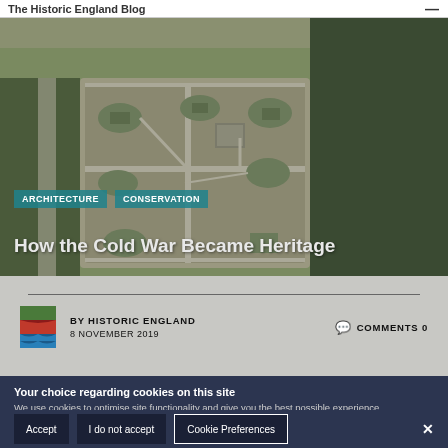The Historic England Blog
[Figure (photo): Aerial view of a Cold War era military installation with grass-covered bunkers and buildings arranged in a large compound, surrounded by forest.]
ARCHITECTURE  CONSERVATION
How the Cold War Became Heritage
BY HISTORIC ENGLAND
8 NOVEMBER 2019
COMMENTS 0
Your choice regarding cookies on this site
We use cookies to optimise site functionality and give you the best possible experience.
Accept  I do not accept  Cookie Preferences